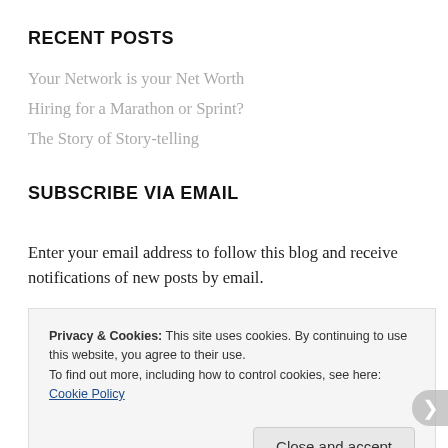RECENT POSTS
Your Network is your Net Worth
Hiring for a Marathon or Sprint?
The Story of Story-telling
SUBSCRIBE VIA EMAIL
Enter your email address to follow this blog and receive notifications of new posts by email.
Privacy & Cookies: This site uses cookies. By continuing to use this website, you agree to their use.
To find out more, including how to control cookies, see here: Cookie Policy
REBIRTHIAS.AS